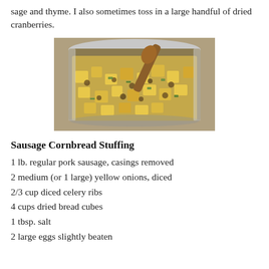sage and thyme. I also sometimes toss in a large handful of dried cranberries.
[Figure (photo): A large metal mixing bowl filled with sausage cornbread stuffing mixture — cubed cornbread, ground sausage, diced celery and onions, being stirred with a wooden spoon.]
Sausage Cornbread Stuffing
1 lb. regular pork sausage, casings removed
2 medium (or 1 large) yellow onions, diced
2/3 cup diced celery ribs
4 cups dried bread cubes
1 tbsp. salt
2 large eggs slightly beaten